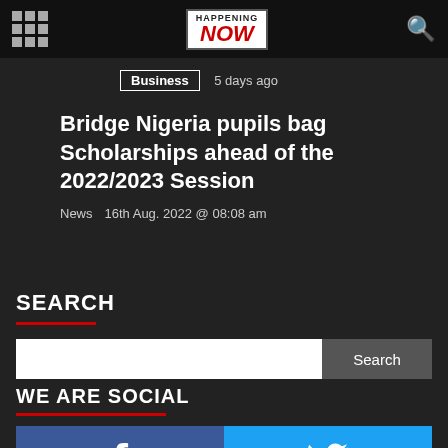Happening Now - navigation bar with logo
Business   5 days ago
Bridge Nigeria pupils bag Scholarships ahead of the 2022/2023 Session
News   16th Aug. 2022 @ 08:08 am
SEARCH
Search input and button
WE ARE SOCIAL
[Figure (other): Facebook and Twitter social media buttons]